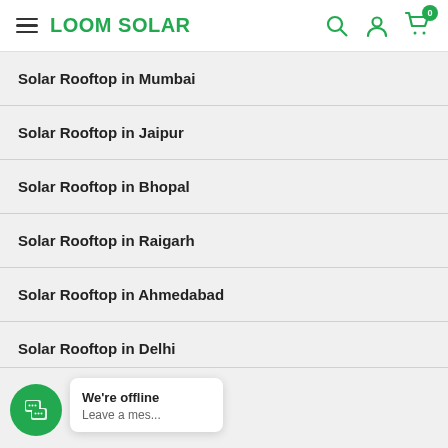LOOM SOLAR
Solar Rooftop in Mumbai
Solar Rooftop in Jaipur
Solar Rooftop in Bhopal
Solar Rooftop in Raigarh
Solar Rooftop in Ahmedabad
Solar Rooftop in Delhi
We're offline
Leave a mes...